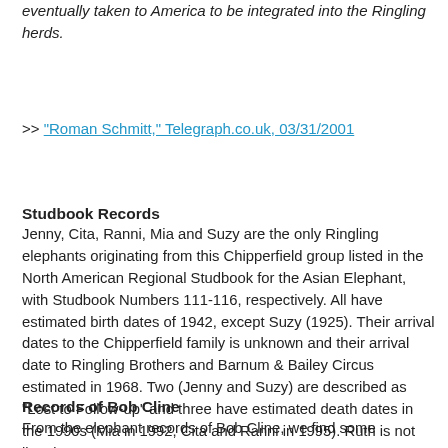eventually taken to America to be integrated into the Ringling herds.
>> "Roman Schmitt," Telegraph.co.uk, 03/31/2001
Studbook Records
Jenny, Cita, Ranni, Mia and Suzy are the only Ringling elephants originating from this Chipperfield group listed in the North American Regional Studbook for the Asian Elephant, with Studbook Numbers 111-116, respectively. All have estimated birth dates of 1942, except Suzy (1925). Their arrival dates to the Chipperfield family is unknown and their arrival date to Ringling Brothers and Barnum & Bailey Circus estimated in 1968. Two (Jenny and Suzy) are described as "Lost to Follow-up" and three have estimated death dates in the 1990s (Mia in 1992, Cita and Ranni in 1995). Ruth is not listed.
Records of Bob Cline
From the elephant records of Bob Cline, we find some